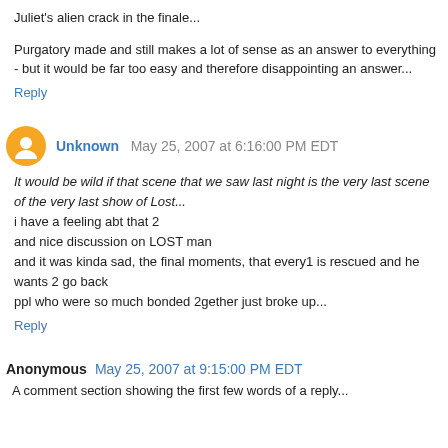Juliet's alien crack in the finale...
Purgatory made and still makes a lot of sense as an answer to everything - but it would be far too easy and therefore disappointing an answer...
Reply
Unknown  May 25, 2007 at 6:16:00 PM EDT
It would be wild if that scene that we saw last night is the very last scene of the very last show of Lost...
i have a feeling abt that 2
and nice discussion on LOST man
and it was kinda sad, the final moments, that every1 is rescued and he wants 2 go back
ppl who were so much bonded 2gether just broke up...
Reply
Anonymous  May 25, 2007 at 9:15:00 PM EDT